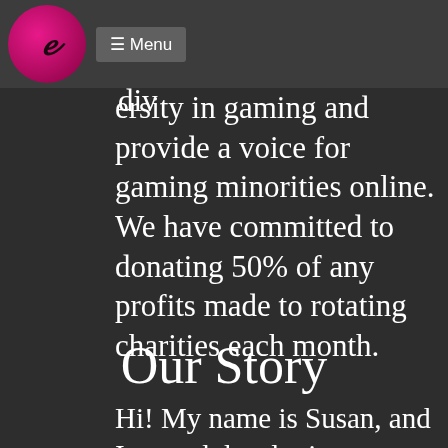Menu
Our mission is to promote discussion and diversity in gaming and provide a voice for gaming minorities online. We have committed to donating 50% of any profits made to rotating charities each month.
Our Story
Hi! My name is Susan, and I started developing SassyGamers.com in June